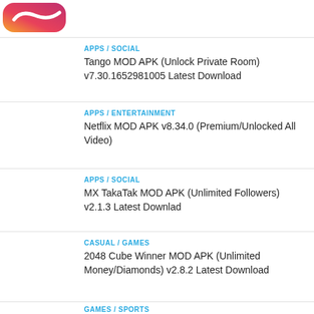[Figure (logo): App logo with gradient orange/pink/red rounded shape]
APPS / SOCIAL
Tango MOD APK (Unlock Private Room) v7.30.1652981005 Latest Download
APPS / ENTERTAINMENT
Netflix MOD APK v8.34.0 (Premium/Unlocked All Video)
APPS / SOCIAL
MX TakaTak MOD APK (Unlimited Followers) v2.1.3 Latest Downlad
CASUAL / GAMES
2048 Cube Winner MOD APK (Unlimited Money/Diamonds) v2.8.2 Latest Download
GAMES / SPORTS